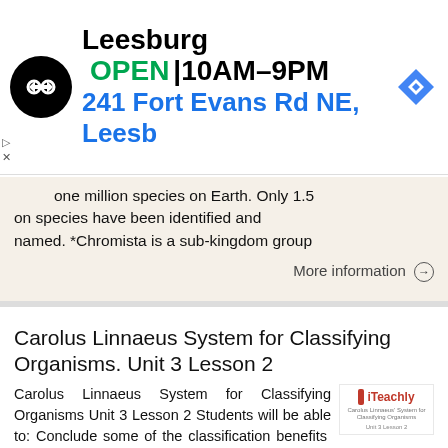[Figure (screenshot): Ad banner for Leesburg store showing logo, OPEN status, hours 10AM-9PM, address 241 Fort Evans Rd NE, Leesb, and navigation arrow icon]
one million species on Earth. Only 1.5 million species have been identified and named. *Chromista is a sub-kingdom group
More information →
Carolus Linnaeus System for Classifying Organisms. Unit 3 Lesson 2
Carolus Linnaeus System for Classifying Organisms Unit 3 Lesson 2 Students will be able to: Conclude some of the classification benefits and importance. Define what is meant by species. Describe the binomial
More information →